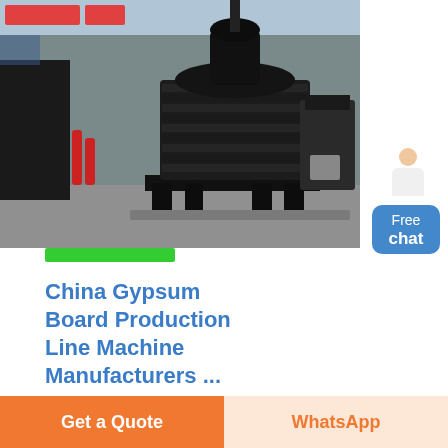[Figure (photo): Industrial cone crusher machine in a factory/yard setting. Large black heavy machinery on a steel base frame, with fire extinguishers visible. Other machinery in background.]
China Gypsum Board Production Line Machine Manufacturers ...
Factory Supply Gypsum
Get a Quote
WhatsApp